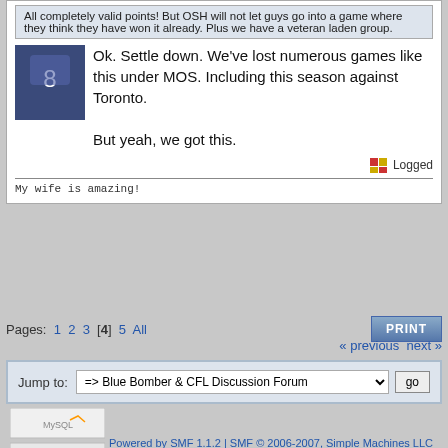All completely valid points! But OSH will not let guys go into a game where they think they have won it already. Plus we have a veteran laden group.
Ok. Settle down. We've lost numerous games like this under MOS. Including this season against Toronto.

But yeah, we got this.
Logged
My wife is amazing!
Pages: 1 2 3 [4] 5 All
« previous next »
Jump to: => Blue Bomber & CFL Discussion Forum  go
Powered by SMF 1.1.2 | SMF © 2006-2007, Simple Machines LLC